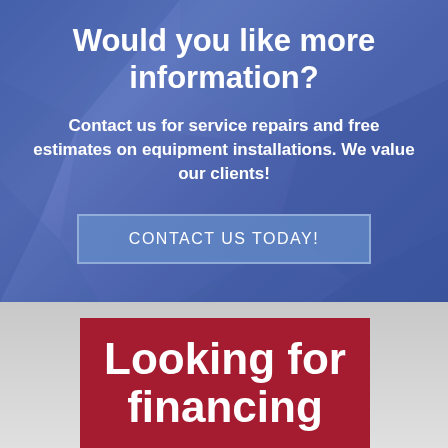Would you like more information?
Contact us for service repairs and free estimates on equipment installations. We value our clients!
CONTACT US TODAY!
Looking for financing